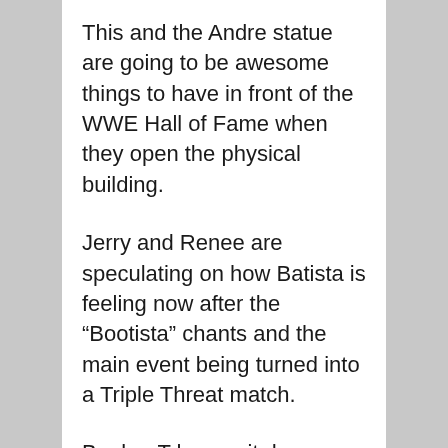This and the Andre statue are going to be awesome things to have in front of the WWE Hall of Fame when they open the physical building.
Jerry and Renee are speculating on how Batista is feeling now after the “Bootista” chants and the main event being turned into a Triple Threat match.
Booker T has a sit down interview with Batista. Batista states he wish he had a better place to come back to rather thǭn Dayton, Ohio. C’mon, Batista. It wasn’t Dayton that ruined your comeback. It is